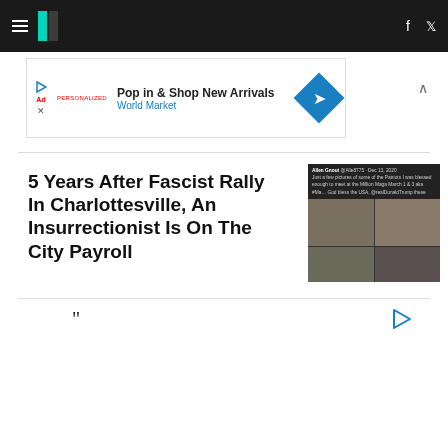HuffPost navigation bar with hamburger menu, logo, Facebook and Twitter icons
[Figure (screenshot): Advertisement banner: Pop in & Shop New Arrivals - World Market]
5 Years After Fascist Rally In Charlottesville, An Insurrectionist Is On The City Payroll
[Figure (screenshot): Tweet from Allen Gnout showing photos from Million Maga March event]
"
[Figure (other): Ad play button icon]